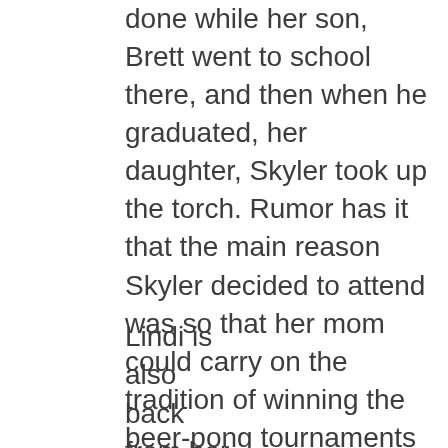done while her son, Brett went to school there, and then when he graduated, her daughter, Skyler took up the torch. Rumor has it that the main reason Skyler decided to attend was so that her mom could carry on the tradition of winning the beer-pong tournaments at the TKE house, but you didn't hear that from me! Shawn's Facebook profile shows something like 15,000 new pictures of Shawn and Skyler, and from the looks of things, there was fun to be had at WSU's Mom's Weekend 2014. Go Cougs!
Lindi is
also
back
from her